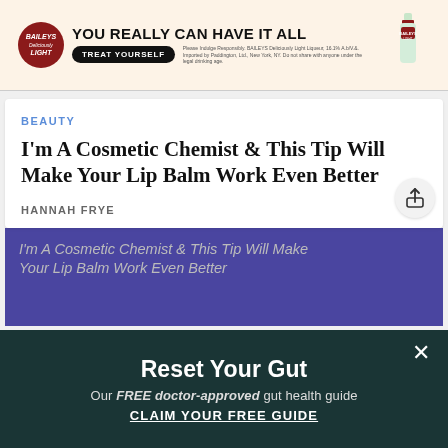[Figure (other): Baileys Deliciously Light advertisement banner with logo, tagline 'YOU REALLY CAN HAVE IT ALL', 'TREAT YOURSELF' button, small disclaimer text, and product bottle image.]
BEAUTY
I'm A Cosmetic Chemist & This Tip Will Make Your Lip Balm Work Even Better
HANNAH FRYE
[Figure (photo): Article hero image placeholder showing italic alt text: I'm A Cosmetic Chemist & This Tip Will Make Your Lip Balm Work Even Better, on a dark purple/blue background.]
Reset Your Gut
Our FREE doctor-approved gut health guide
CLAIM YOUR FREE GUIDE